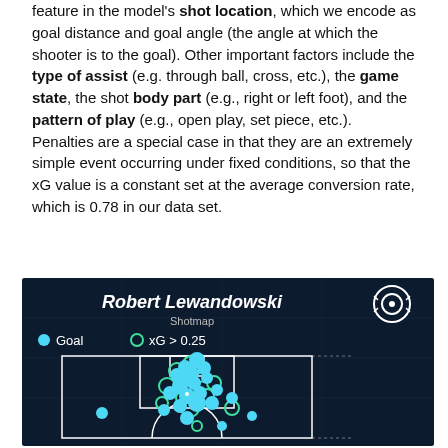feature in the model's shot location, which we encode as goal distance and goal angle (the angle at which the shooter is to the goal). Other important factors include the type of assist (e.g. through ball, cross, etc.), the game state, the shot body part (e.g., right or left foot), and the pattern of play (e.g., open play, set piece, etc.). Penalties are a special case in that they are an extremely simple event occurring under fixed conditions, so that the xG value is a constant set at the average conversion rate, which is 0.78 in our data set.
[Figure (infographic): Robert Lewandowski Shotmap showing goal locations on a football pitch half. Blue filled circles represent Goals, green open circles represent xG > 0.25. Shots are clustered in the penalty area.]